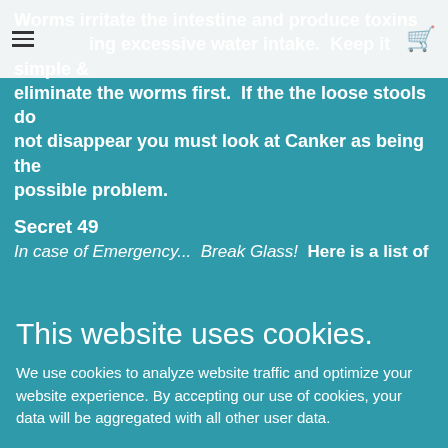Worms irritate the intestine and produce toxins causing excessive water intake. Keep it simple and eliminate the worms first. If the the loose stools do not disappear you must look at Canker as being the possible problem.
Secret 49
In case of Emergency...  Break Glass!  Here is a list of
This website uses cookies.
We use cookies to analyze website traffic and optimize your website experience. By accepting our use of cookies, your data will be aggregated with all other user data.
NO THANKS
ACCEPT